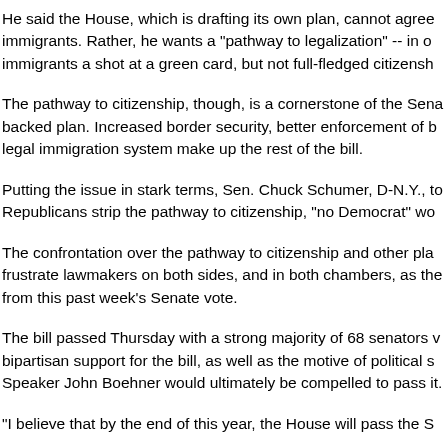He said the House, which is drafting its own plan, cannot agree immigrants. Rather, he wants a "pathway to legalization" -- in o immigrants a shot at a green card, but not full-fledged citizensh
The pathway to citizenship, though, is a cornerstone of the Sena backed plan. Increased border security, better enforcement of b legal immigration system make up the rest of the bill.
Putting the issue in stark terms, Sen. Chuck Schumer, D-N.Y., to Republicans strip the pathway to citizenship, "no Democrat" wo
The confrontation over the pathway to citizenship and other pla frustrate lawmakers on both sides, and in both chambers, as the from this past week's Senate vote.
The bill passed Thursday with a strong majority of 68 senators v bipartisan support for the bill, as well as the motive of political s Speaker John Boehner would ultimately be compelled to pass it.
"I believe that by the end of this year, the House will pass the S